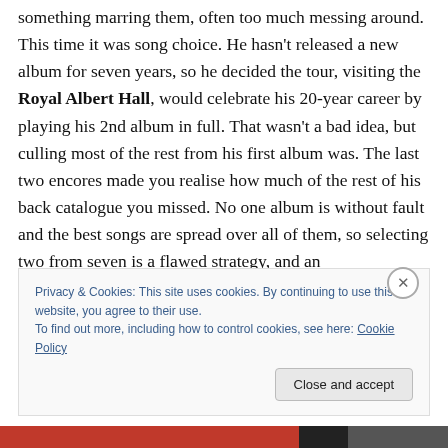something marring them, often too much messing around. This time it was song choice. He hasn't released a new album for seven years, so he decided the tour, visiting the Royal Albert Hall, would celebrate his 20-year career by playing his 2nd album in full. That wasn't a bad idea, but culling most of the rest from his first album was. The last two encores made you realise how much of the rest of his back catalogue you missed. No one album is without fault and the best songs are spread over all of them, so selecting two from seven is a flawed strategy, and an
Privacy & Cookies: This site uses cookies. By continuing to use this website, you agree to their use.
To find out more, including how to control cookies, see here: Cookie Policy